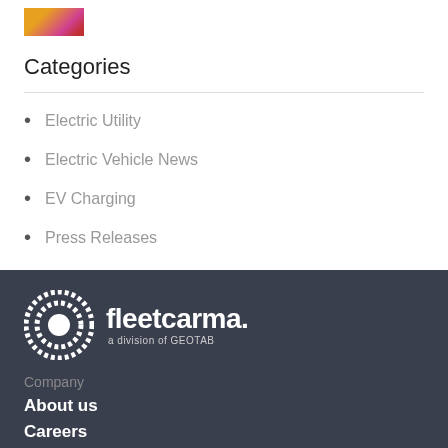[Figure (photo): Small thumbnail image with orange, pink, and red colors]
Categories
Electric Utility
Electric Vehicle News
EV Charging
Press Releases
[Figure (logo): FleetCarma logo - a division of GEOTAB, white on dark background]
Company
About us
Careers